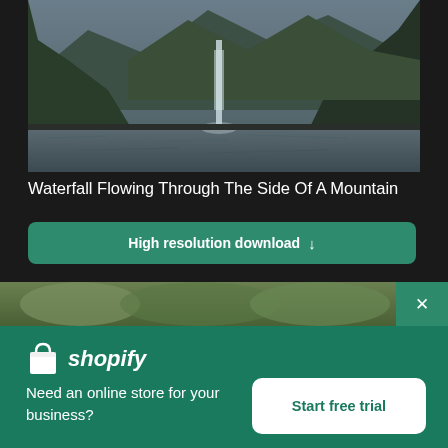[Figure (photo): Waterfall flowing through steep mountain valley with water body in foreground, lush green cliffs on either side]
Waterfall Flowing Through The Side Of A Mountain
High resolution download ↓
[Figure (photo): Blurred preview of another nature photo]
[Figure (logo): Shopify logo with shopping bag icon and italic shopify text]
Need an online store for your business?
Start free trial